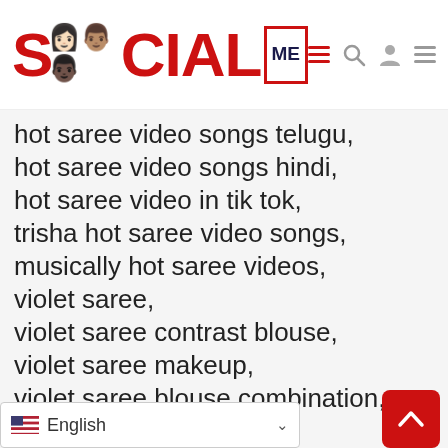[Figure (logo): SocialMe website logo with cartoon figures and red text, plus navigation icons (hamburger menu, search, user, hamburger)]
hot saree video songs telugu,
hot saree video songs hindi,
hot saree video in tik tok,
trisha hot saree video songs,
musically hot saree videos,
violet saree,
violet saree contrast blouse,
violet saree makeup,
violet saree blouse combination,
t saree,